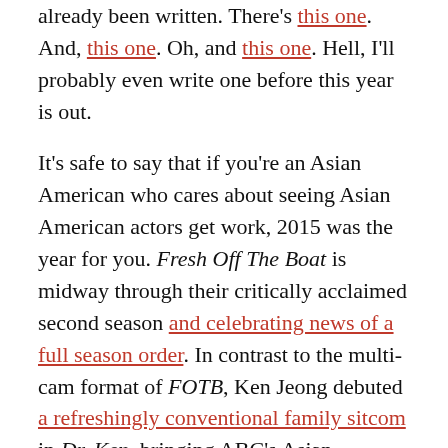already been written. There's this one. And, this one. Oh, and this one. Hell, I'll probably even write one before this year is out.
It's safe to say that if you're an Asian American who cares about seeing Asian American actors get work, 2015 was the year for you. Fresh Off The Boat is midway through their critically acclaimed second season and celebrating news of a full season order. In contrast to the multi-cam format of FOTB, Ken Jeong debuted a refreshingly conventional family sitcom in Dr. Ken, bringing ABC's Asian American-led primetime sitcom offerings to two. On Sundays, ABC also airs Quantico, which stars the impeccably-coifed Priyanka Chopra as an FBI recruit-turned-agent-turned-fugitive (shock